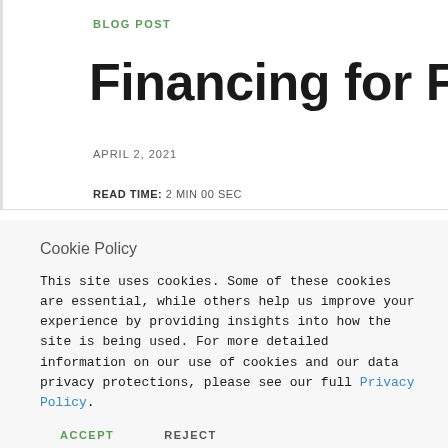BLOG POST
Financing for Future
APRIL 2, 2021
READ TIME: 2 MIN 00 SEC
Cookie Policy
This site uses cookies. Some of these cookies are essential, while others help us improve your experience by providing insights into how the site is being used. For more detailed information on our use of cookies and our data privacy protections, please see our full Privacy Policy.
ACCEPT   REJECT